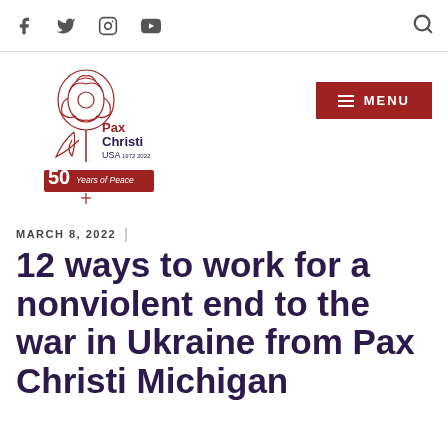Facebook Twitter Instagram YouTube [search icon]
[Figure (logo): Pax Christi USA 50 Years of Peace logo with a rose illustration]
[Figure (other): Red menu button with hamburger icon and text MENU]
MARCH 8, 2022 |
12 ways to work for a nonviolent end to the war in Ukraine from Pax Christi Michigan